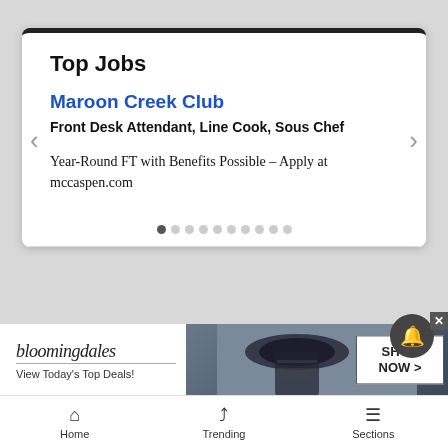Top Jobs
Maroon Creek Club
Front Desk Attendant, Line Cook, Sous Chef
Year-Round FT with Benefits Possible - Apply at mccaspen.com
[Figure (screenshot): Bloomingdales advertisement banner showing logo, tagline 'View Today's Top Deals!' and a woman in a hat with SHOP NOW > button]
Home | Trending | Sections